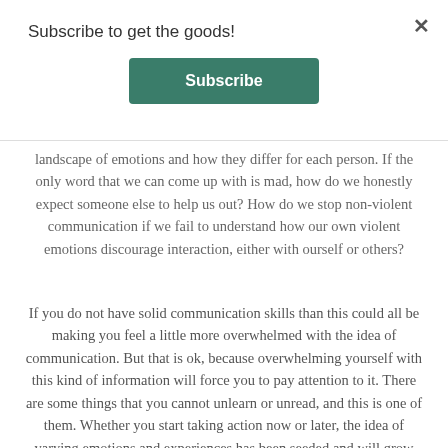Subscribe to get the goods!
[Figure (other): Subscribe button — green rounded rectangle with white bold text 'Subscribe']
landscape of emotions and how they differ for each person. If the only word that we can come up with is mad, how do we honestly expect someone else to help us out? How do we stop non-violent communication if we fail to understand how our own violent emotions discourage interaction, either with ourself or others?
If you do not have solid communication skills than this could all be making you feel a little more overwhelmed with the idea of communication. But that is ok, because overwhelming yourself with this kind of information will force you to pay attention to it. There are some things that you cannot unlearn or unread, and this is one of them. Whether you start taking action now or later, the idea of varying emotions and experiences has been seeded and will grow over time.